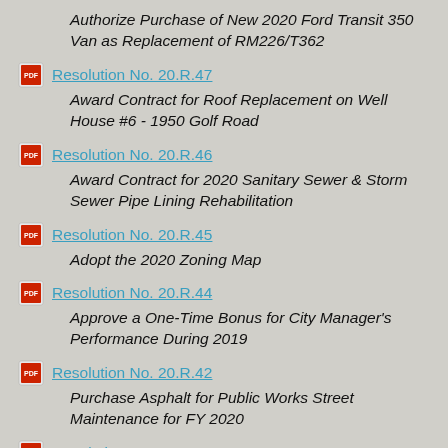Authorize Purchase of New 2020 Ford Transit 350 Van as Replacement of RM226/T362
Resolution No. 20.R.47 — Award Contract for Roof Replacement on Well House #6 - 1950 Golf Road
Resolution No. 20.R.46 — Award Contract for 2020 Sanitary Sewer & Storm Sewer Pipe Lining Rehabilitation
Resolution No. 20.R.45 — Adopt the 2020 Zoning Map
Resolution No. 20.R.44 — Approve a One-Time Bonus for City Manager's Performance During 2019
Resolution No. 20.R.42 — Purchase Asphalt for Public Works Street Maintenance for FY 2020
Resolution No. 20.R.41 — Authorize Purchase of Three (3) Police Pursuit